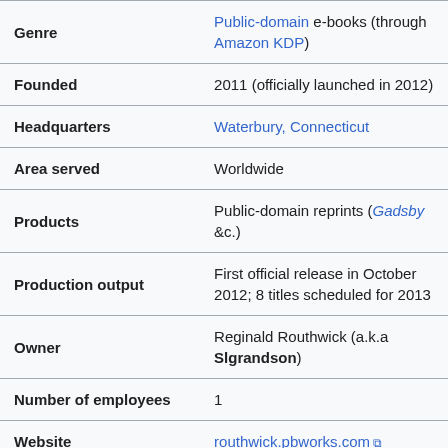| Field | Value |
| --- | --- |
| Genre | Public-domain e-books (through Amazon KDP) |
| Founded | 2011 (officially launched in 2012) |
| Headquarters | Waterbury, Connecticut |
| Area served | Worldwide |
| Products | Public-domain reprints (Gadsby &c.) |
| Production output | First official release in October 2012; 8 titles scheduled for 2013 |
| Owner | Reginald Routhwick (a.k.a Slgrandson) |
| Number of employees | 1 |
| Website | routhwick.pbworks.com |